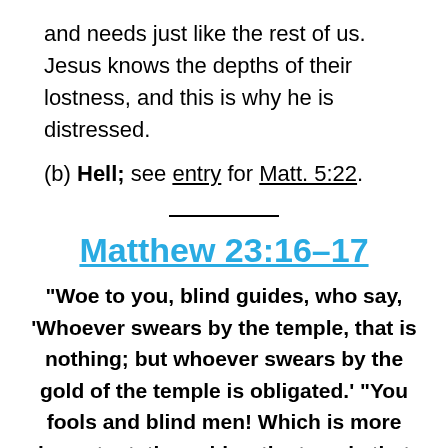and needs just like the rest of us. Jesus knows the depths of their lostness, and this is why he is distressed.
(b) Hell; see entry for Matt. 5:22.
Matthew 23:16–17
“Woe to you, blind guides, who say, ‘Whoever swears by the temple, that is nothing; but whoever swears by the gold of the temple is obligated.’ “You fools and blind men! Which is more important, the gold or the temple that sanctified the